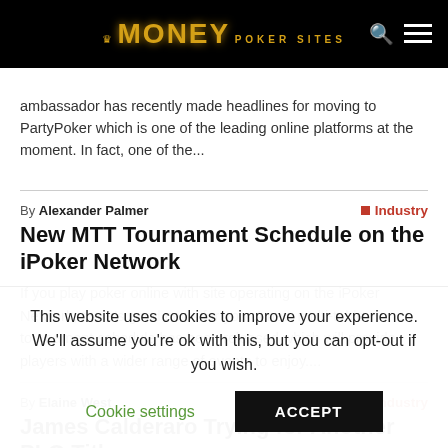MONEY POKER SITES
ambassador has recently made headlines for moving to PartyPoker which is one of the leading online platforms at the moment. In fact, one of the...
By Alexander Palmer — Industry
New MTT Tournament Schedule on the iPoker Network
If you play poker online with site operating on the iPoker Network, there's good news for you. A new multi-table tournament schedule has been released which will provide players with a wider range of events to enjoy....
By Elaine West — Industry
James Calderaro Trying for Another PLO Title
While someone tries to get interest between a competition of bracelet...
This website uses cookies to improve your experience. We'll assume you're ok with this, but you can opt-out if you wish.
Cookie settings   ACCEPT